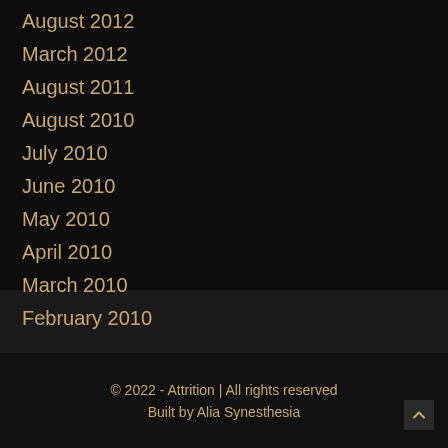August 2012
March 2012
August 2011
August 2010
July 2010
June 2010
May 2010
April 2010
March 2010
February 2010
© 2022 - Attrition | All rights reserved
Built by Alia Synesthesia